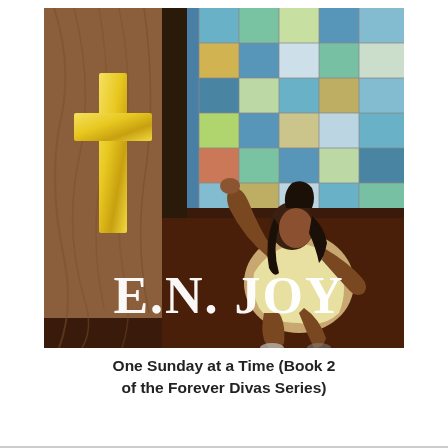[Figure (illustration): Book cover illustration: A Black woman in a pale yellow dress kneels on a dark red floor beside a wooden church pulpit, leaning against it with her arm raised. A large gold cross is mounted on the wooden pulpit wall to the left. A colorful stained-glass window with blues, greens, and oranges fills the background. The author name 'E.N. JOY' is displayed in large white serif text over the lower portion of the image.]
One Sunday at a Time (Book 2 of the Forever Divas Series)